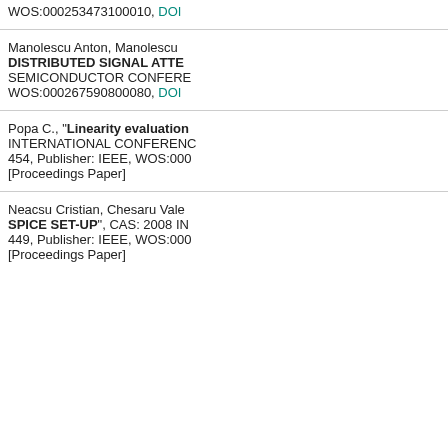WOS:000253473100010, DOI
Manolescu Anton, Manolescu... DISTRIBUTED SIGNAL ATTE... SEMICONDUCTOR CONFERE... WOS:000267590800080, DOI
Popa C., "Linearity evaluation... INTERNATIONAL CONFERENC... 454, Publisher: IEEE, WOS:000... [Proceedings Paper]
Neacsu Cristian, Chesaru Vale... SPICE SET-UP", CAS: 2008 IN... 449, Publisher: IEEE, WOS:000... [Proceedings Paper]